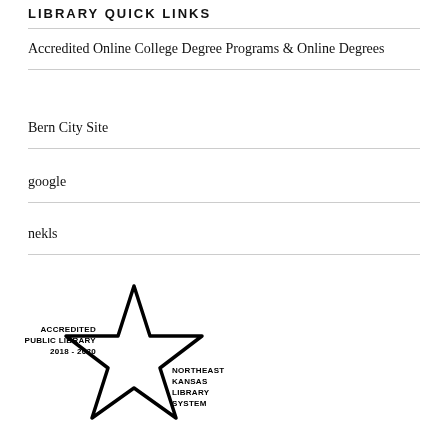LIBRARY QUICK LINKS
Accredited Online College Degree Programs & Online Degrees
Bern City Site
google
nekls
[Figure (logo): Star-shaped logo with text: ACCREDITED PUBLIC LIBRARY 2018-2020 on the left side and NORTHEAST KANSAS LIBRARY SYSTEM on the right side]